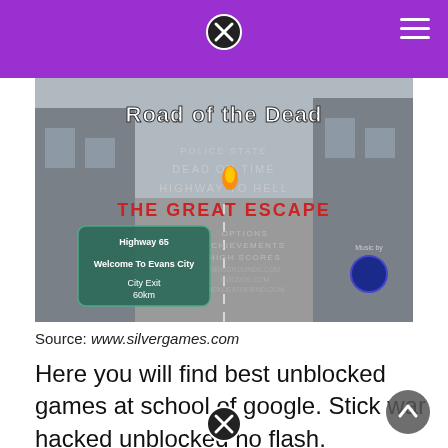[Figure (screenshot): Screenshot of the game 'Road of the Dead' showing a post-apocalyptic city street with menu options including Police State, Dead On Time, Highway To Hell, The Great Escape, Options, Achievements, High Scores. A green HUD shows Highway 65, Welcome To Evans City, City Exit 60km.]
Source: www.silvergames.com
Here you will find best unblocked games at school of google. Stick war hacked unblocked no flash.